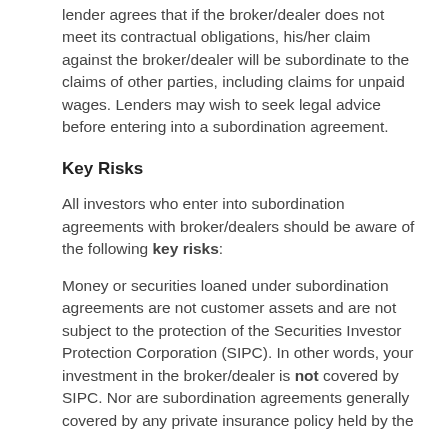lender agrees that if the broker/dealer does not meet its contractual obligations, his/her claim against the broker/dealer will be subordinate to the claims of other parties, including claims for unpaid wages. Lenders may wish to seek legal advice before entering into a subordination agreement.
Key Risks
All investors who enter into subordination agreements with broker/dealers should be aware of the following key risks:
Money or securities loaned under subordination agreements are not customer assets and are not subject to the protection of the Securities Investor Protection Corporation (SIPC). In other words, your investment in the broker/dealer is not covered by SIPC. Nor are subordination agreements generally covered by any private insurance policy held by the